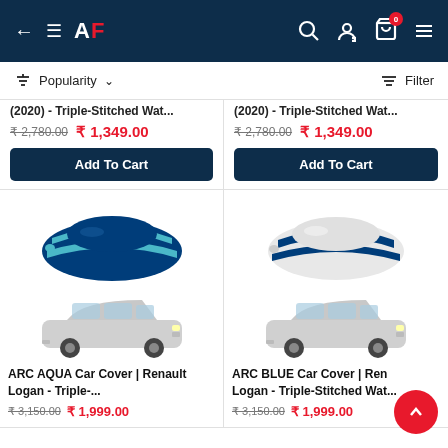AF - App header with back arrow, menu, logo, search, account, and cart (0 items)
Popularity ↓ | Filter
(2020) - Triple-Stitched Wat... ₹2,780.00  ₹1,349.00  Add To Cart
(2020) - Triple-Stitched Wat... ₹2,780.00  ₹1,349.00  Add To Cart
[Figure (photo): ARC AQUA Car Cover - blue and teal striped car cover with a white Renault Logan sedan below it]
ARC AQUA Car Cover | Renault Logan - Triple-... ₹3,150.00 ₹1,999.00
[Figure (photo): ARC BLUE Car Cover - white and navy blue striped car cover with a white Renault Logan sedan below it]
ARC BLUE Car Cover | Renault Logan - Triple-Stitched Wat... ₹3,150.00 ₹1,999.00